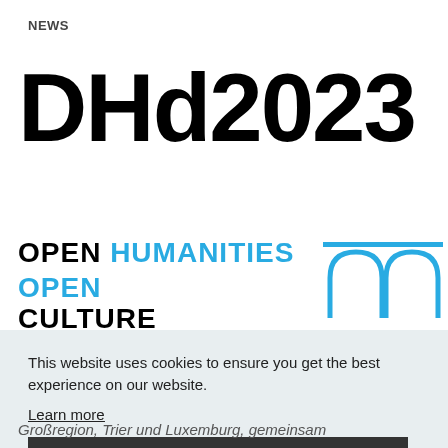NEWS
DHd2023
OPEN HUMANITIES
OPEN CULTURE
[Figure (logo): Arch/bridge logo in blue line art representing arched structures]
This website uses cookies to ensure you get the best experience on our website.
Learn more
Got it
Großregion, Trier und Luxemburg, gemeinsam